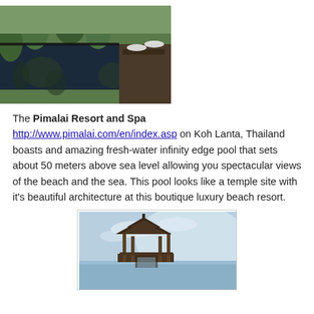[Figure (photo): Aerial view of a dark infinity pool surrounded by tropical trees and lush greenery, with lounge chairs and white umbrellas in the background at Pimalai Resort and Spa]
The Pimalai Resort and Spa http://www.pimalai.com/en/index.asp on Koh Lanta, Thailand boasts and amazing fresh-water infinity edge pool that sets about 50 meters above sea level allowing you spectacular views of the beach and the sea. This pool looks like a temple site with it's beautiful architecture at this boutique luxury beach resort.
[Figure (photo): A traditional Thai-style pavilion or gazebo structure silhouetted against a bright sky with ocean visible in the background at Pimalai Resort]